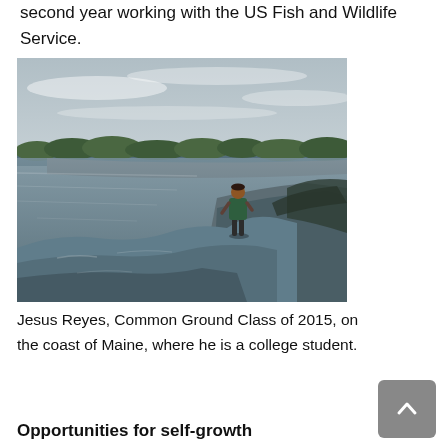second year working with the US Fish and Wildlife Service.
[Figure (photo): A person (Jesus Reyes) standing on rocky shoreline with a calm bay and forested hills in the background on the coast of Maine.]
Jesus Reyes, Common Ground Class of 2015, on the coast of Maine, where he is a college student.
Opportunities for self-growth